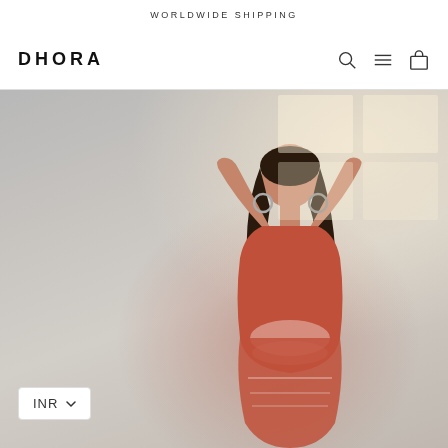WORLDWIDE SHIPPING
DHORA
[Figure (photo): Fashion brand hero image: a woman in a coral/red tie-dye sleeveless dress, eyes closed, hands raised behind her head, posed against a light grey wall with window light streaming in from the upper right. The model wears large hoop earrings and has long dark hair.]
INR ▼